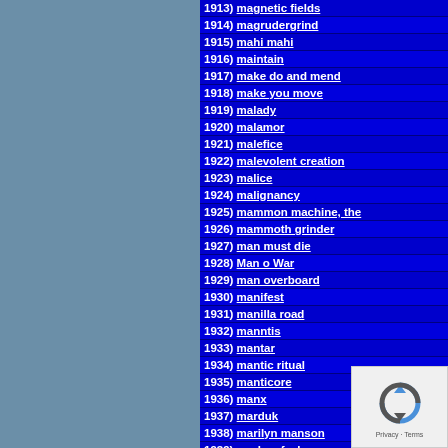1913) magnetic fields
1914) magrudergrind
1915) mahi mahi
1916) maintain
1917) make do and mend
1918) make you move
1919) malady
1920) malamor
1921) malefice
1922) malevolent creation
1923) malice
1924) malignancy
1925) mammon machine, the
1926) mammoth grinder
1927) man must die
1928) Man o War
1929) man overboard
1930) manifest
1931) manilla road
1932) manntis
1933) mantar
1934) mantic ritual
1935) manticore
1936) manx
1937) marduk
1938) marilyn manson
1939) marks of a hero
1940) martyr
1941) martyr ad